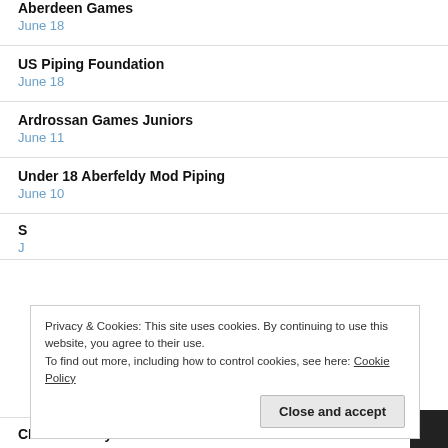Aberdeen Games
June 18
US Piping Foundation
June 18
Ardrossan Games Juniors
June 11
Under 18 Aberfeldy Mod Piping
June 10
S
J
Privacy & Cookies: This site uses cookies. By continuing to use this website, you agree to their use. To find out more, including how to control cookies, see here: Cookie Policy
Close and accept
CLASP– Army School